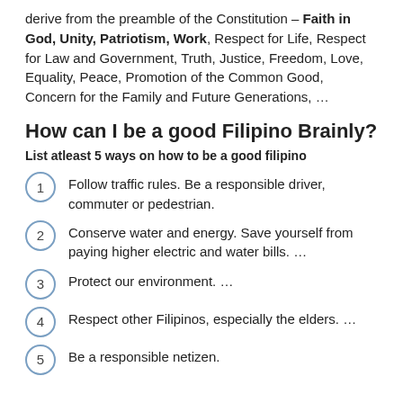derive from the preamble of the Constitution – Faith in God, Unity, Patriotism, Work, Respect for Life, Respect for Law and Government, Truth, Justice, Freedom, Love, Equality, Peace, Promotion of the Common Good, Concern for the Family and Future Generations, …
How can I be a good Filipino Brainly?
List atleast 5 ways on how to be a good filipino
Follow traffic rules. Be a responsible driver, commuter or pedestrian.
Conserve water and energy. Save yourself from paying higher electric and water bills. …
Protect our environment. …
Respect other Filipinos, especially the elders. …
Be a responsible netizen.